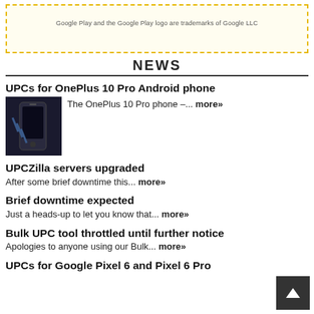[Figure (other): Google Play badge area with dashed yellow border and trademark text]
Google Play and the Google Play logo are trademarks of Google LLC
NEWS
UPCs for OnePlus 10 Pro Android phone
[Figure (photo): Dark colored OnePlus 10 Pro phone thumbnail image]
The OnePlus 10 Pro phone –... more»
UPCZilla servers upgraded
After some brief downtime this... more»
Brief downtime expected
Just a heads-up to let you know that... more»
Bulk UPC tool throttled until further notice
Apologies to anyone using our Bulk... more»
UPCs for Google Pixel 6 and Pixel 6 Pro